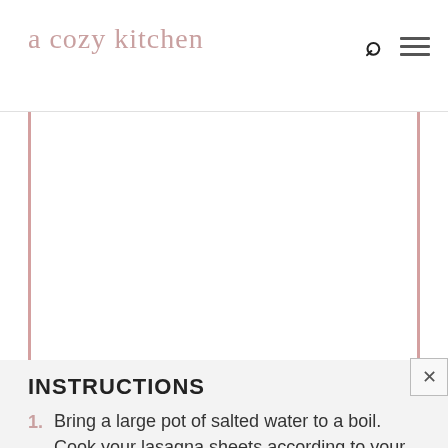a cozy kitchen
[Figure (photo): White empty image area with pink vertical border lines on left and right sides]
INSTRUCTIONS
1. Bring a large pot of salted water to a boil. Cook your lasagna sheets according to your package's directions. I cooked mine for about 8 minutes. (I always like to cook them until very al dente since they're going to cook a tad bit longer in the oven with the lasag...)